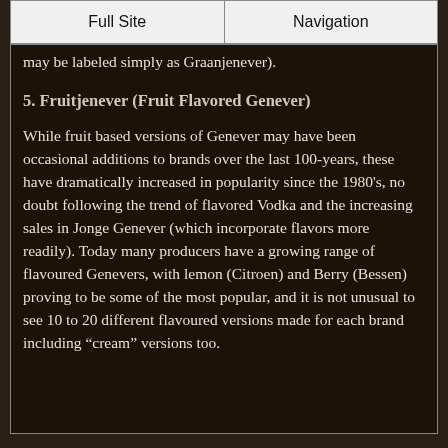Full Site | Navigation
may be labeled simply as Graanjenever).
5. Fruitjenever (Fruit Flavored Genever)
While fruit based versions of Genever may have been occasional additions to brands over the last 100-years, these have dramatically increased in popularity since the 1980's, no doubt following the trend of flavored Vodka and the increasing sales in Jonge Genever (which incorporate flavors more readily). Today many producers have a growing range of flavoured Genevers, with lemon (Citroen) and Berry (Bessen) proving to be some of the most popular, and it is not unusual to see 10 to 20 different flavoured versions made for each brand including “cream” versions too.